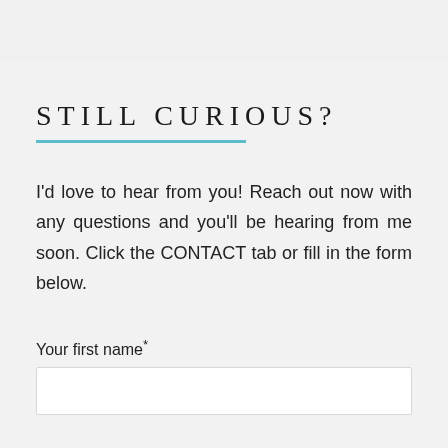STILL CURIOUS?
I'd love to hear from you! Reach out now with any questions and you'll be hearing from me soon. Click the CONTACT tab or fill in the form below.
Your first name*